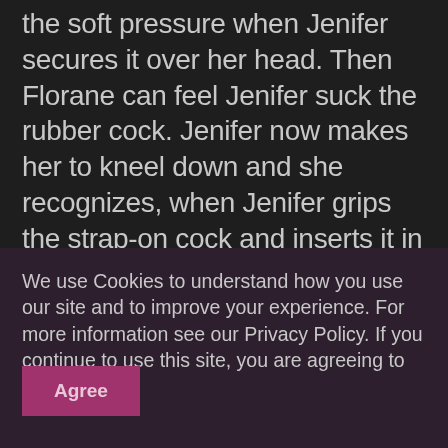the soft pressure when Jenifer secures it over her head. Then Florane can feel Jenifer suck the rubber cock. Jenifer now makes her to kneel down and she recognizes, when Jenifer grips the strap-on cock and inserts it in Jenifer's pussy. Florane now strap-on fucks blindfolded Jenifer. Then the cock is directed again into Jenifer's mouth before she continues to fuck Jenifer until she climaxes. Florane can hear Jenifer to unbutton something. The she feels
We use Cookies to understand how you use our site and to improve your experience. For more information see our Privacy Policy. If you continue to use this site, you are agreeing to this.
Agree